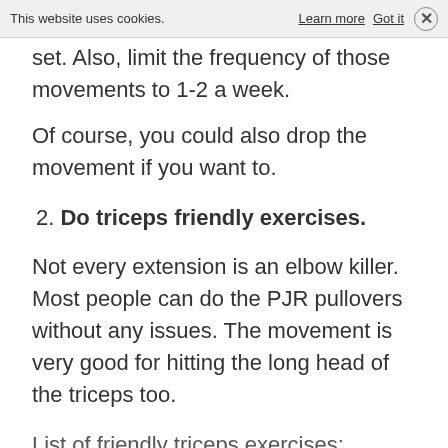This website uses cookies. Learn more   Got it  ×
set. Also, limit the frequency of those movements to 1-2 a week.
Of course, you could also drop the movement if you want to.
2. Do triceps friendly exercises.
Not every extension is an elbow killer. Most people can do the PJR pullovers without any issues. The movement is very good for hitting the long head of the triceps too.
List of friendly triceps exercises: